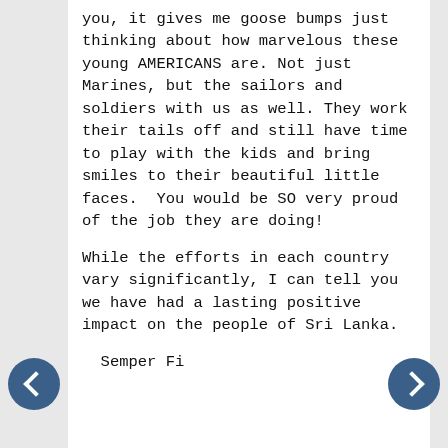you, it gives me goose bumps just thinking about how marvelous these young AMERICANS are. Not just Marines, but the sailors and soldiers with us as well. They work their tails off and still have time to play with the kids and bring smiles to their beautiful little faces.  You would be SO very proud of the job they are doing!
While the efforts in each country vary significantly, I can tell you we have had a lasting positive impact on the people of Sri Lanka.
Semper Fi